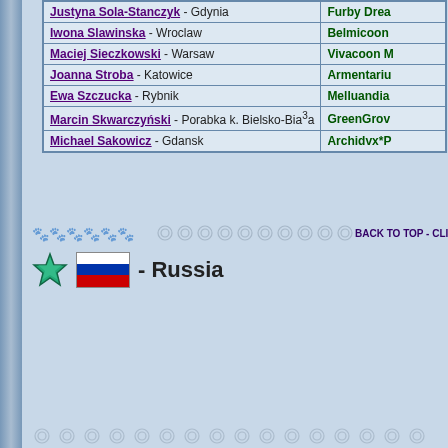| Name - Town / Place | Cattery - |
| --- | --- |
| Justyna Sola-Stanczyk - Gdynia | Furby Drea… |
| Iwona Slawinska - Wroclaw | Belmicoon … |
| Maciej Sieczkowski - Warsaw | Vivacoon M… |
| Joanna Stroba - Katowice | Armentariu… |
| Ewa Szczucka - Rybnik | Melluandia… |
| Marcin Skwarczyński - Porabka k. Bielsko-Bia³a | GreenGrov… |
| Michael Sakowicz - Gdansk | Archidvx*P… |
BACK TO TOP - CLICK HERE
[Figure (illustration): Green star icon and Russian flag with label '- Russia']
| Name - Town / Place | Cattery - |
| --- | --- |
| Olga Shidlovskaya - St.Petersburg | Mercuryho… |
| Irina Shibanova - Samara | Moon Pet S… |
| Elena Simakova - Moscow | Precious Pl… |
| Zhanna Savinova - - - - - | Charoit Sib… |
| Alena Sudakova Ekaterinburg | RusStyle B… |
| Ludmila Sviridova Moscow | Asin Abyssi… |